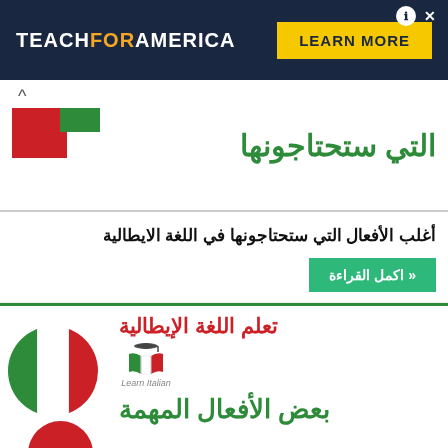[Figure (illustration): Teach For America advertisement banner with dark navy background, logo text TEACH FOR AMERICA in white and orange, and a yellow LEARN MORE button]
[Figure (illustration): Partial Arabic text in green on white background with Italian flag colors (red and green squares), showing partial heading]
أغلب الأفعال التي ستحتاجونها في اللغة الايطالية
اكمل القراءة »
[Figure (illustration): Learn Italian branded card with Italian flag circle, Arabic titles in red and green: تعلم اللغة الإيطالية and بعض الأفعال المهمة, with a book logo labeled Learn Italian]